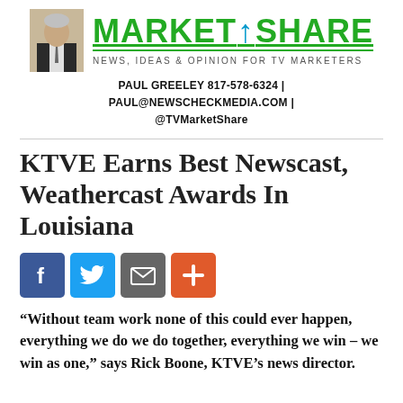[Figure (logo): Market Share newsletter logo with headshot photo of Paul Greeley, green bold MARKET SHARE text with blue upward arrow, tagline NEWS, IDEAS & OPINION FOR TV MARKETERS]
PAUL GREELEY 817-578-6324 | PAUL@NEWSCHECKMEDIA.COM | @TVMarketShare
KTVE Earns Best Newscast, Weathercast Awards In Louisiana
[Figure (infographic): Four social sharing buttons: Facebook (blue), Twitter (light blue), Email (gray), Plus/share (orange-red)]
“Without team work none of this could ever happen, everything we do we do together, everything we win – we win as one,” says Rick Boone, KTVE’s news director.